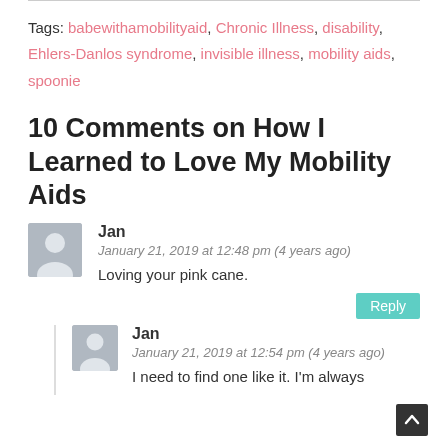Tags: babewithamobilityaid, Chronic Illness, disability, Ehlers-Danlos syndrome, invisible illness, mobility aids, spoonie
10 Comments on How I Learned to Love My Mobility Aids
Jan
January 21, 2019 at 12:48 pm (4 years ago)
Loving your pink cane.
Jan
January 21, 2019 at 12:54 pm (4 years ago)
I need to find one like it. I'm always